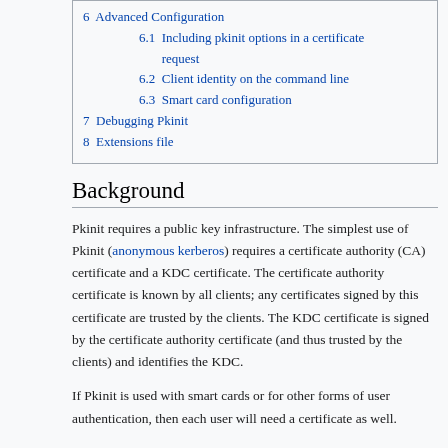6  Advanced Configuration
6.1  Including pkinit options in a certificate request
6.2  Client identity on the command line
6.3  Smart card configuration
7  Debugging Pkinit
8  Extensions file
Background
Pkinit requires a public key infrastructure. The simplest use of Pkinit (anonymous kerberos) requires a certificate authority (CA) certificate and a KDC certificate. The certificate authority certificate is known by all clients; any certificates signed by this certificate are trusted by the clients. The KDC certificate is signed by the certificate authority certificate (and thus trusted by the clients) and identifies the KDC.
If Pkinit is used with smart cards or for other forms of user authentication, then each user will need a certificate as well.